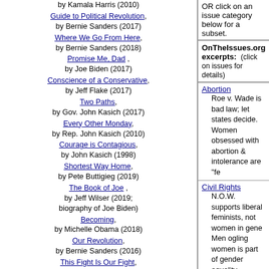Guide to Political Revolution, by Bernie Sanders (2017)
Where We Go From Here, by Bernie Sanders (2018)
Promise Me, Dad , by Joe Biden (2017)
Conscience of a Conservative, by Jeff Flake (2017)
Two Paths, by Gov. John Kasich (2017)
Every Other Monday, by Rep. John Kasich (2010)
Courage is Contagious, by John Kasich (1998)
Shortest Way Home, by Pete Buttigieg (2019)
The Book of Joe , by Jeff Wilser (2019; biography of Joe Biden)
Becoming, by Michelle Obama (2018)
Our Revolution, by Bernie Sanders (2016)
This Fight Is Our Fight, by Elizabeth Warren (2017)
Higher Loyalty, by James Comey (2018)
The Making of Donald...
OR click on an issue category below for a subset.
OnTheIssues.org excerpts: (click on issues for details)
Abortion
Roe v. Wade is bad law; let states decide.
Women obsessed with abortion & intolerance are "fe...
Civil Rights
N.O.W. supports liberal feminists, not women in gene...
Men ogling women is part of gender equality.
Chivalry is male chauvinism to radical feminists.
Crime
Only thing cruel about death penalty is last-minute sta...
Environment
Animals have no fundamental rights; only people do.
Animal rights movement is secular humanism vs. Bib...
Economic growth is key to environmental cleanup.
Gaia worship is religion of secular environmentalists.
Priority on people, not on spotted owls.
Foreign Policy
Gorbachev's ouster gives world peace a chance; end...
Government Reform
House banking scandal involved crimes with taxpaye...
Congress should not exempt itself from laws.
Health Care
Drug abuse & unsafe sex cause AIDS, not homopho...
Homeland Security